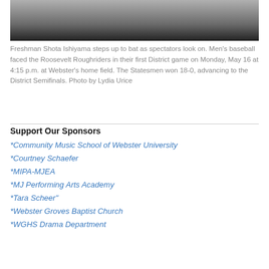[Figure (photo): Photo of a baseball player (Freshman Shota Ishiyama) stepping up to bat, partially cropped showing lower body in white uniform on a field.]
Freshman Shota Ishiyama steps up to bat as spectators look on. Men's baseball faced the Roosevelt Roughriders in their first District game on Monday, May 16 at 4:15 p.m. at Webster's home field. The Statesmen won 18-0, advancing to the District Semifinals. Photo by Lydia Urice
Support Our Sponsors
*Community Music School of Webster University
*Courtney Schaefer
*MIPA-MJEA
*MJ Performing Arts Academy
*Tara Scheer"
*Webster Groves Baptist Church
*WGHS Drama Department